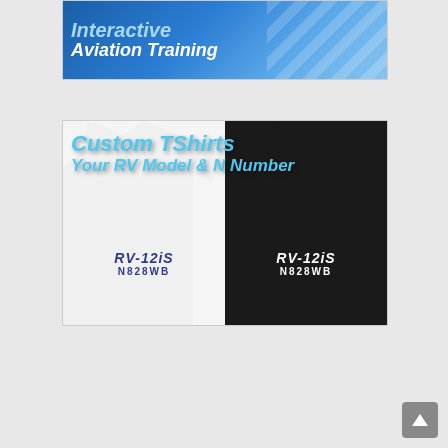[Figure (illustration): Blue banner advertisement for Interactive Aviation Training showing bold italic text on a blue gradient background with diagonal stripe design element]
[Figure (illustration): Advertisement for Custom TShirts showing your RV Model and N Number. Features a white t-shirt and black t-shirt side by side, both printed with RV-12iS and N828WB. Blue italic text overlay reads 'Custom TShirts Your RV Model & N Number'.]